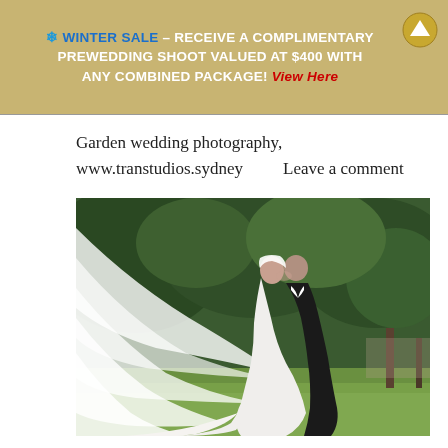[Figure (infographic): Gold/tan banner with bold white uppercase text: snowflake icon then WINTER SALE in blue, dash, RECEIVE A COMPLIMENTARY PREWEDDING SHOOT VALUED AT $400 WITH ANY COMBINED PACKAGE! followed by red italic 'View Here'. An upward arrow icon in gold is in the top-right corner.]
Garden wedding photography, www.transtudios.sydney      Leave a comment
[Figure (photo): Outdoor garden wedding photo of a bride and groom kissing. The bride wears a large white gown with a dramatically billowing veil sweeping out to the left. Background shows lush green trees and manicured lawn.]